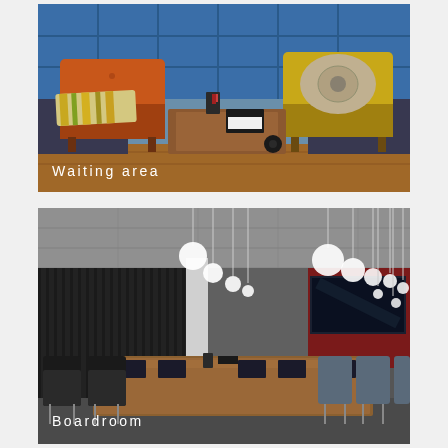[Figure (photo): Interior photo of an office waiting area showing an orange armchair on the left with a striped pillow, a yellow armchair on the right with a round decorative pillow, a wooden coffee table in the center, blue padded wall panels in the background, with text label 'Waiting area' in white at the bottom left.]
[Figure (photo): Interior photo of a corporate boardroom featuring a large wooden conference table surrounded by grey and black office chairs, dark vertical wood panel wall feature on the left, globe pendant lights hanging from the ceiling, a red accent wall with a large TV screen on the right, with text label 'Boardroom' in white at the bottom left.]